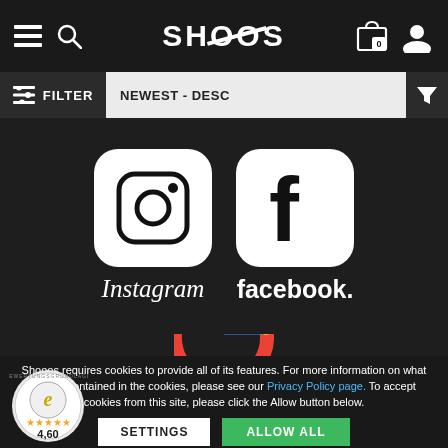SHOOOS - navigation header with hamburger menu, search, logo, cart (0), user icon
FILTER    NEWEST - DESC
[Figure (logo): Instagram logo (camera icon) with text 'Instagram' below on dark background]
[Figure (logo): Facebook logo (f icon) with text 'facebook.' below on dark background]
[Figure (logo): Google logo (colorful G) partially visible on dark background]
Shooos requires cookies to provide all of its features. For more information on what data is contained in the cookies, please see our Privacy Policy page. To accept cookies from this site, please click the Allow button below.
[Figure (illustration): Trust/guarantee badge with star rating 4,60 and stars]
SETTINGS   ALLOW ALL